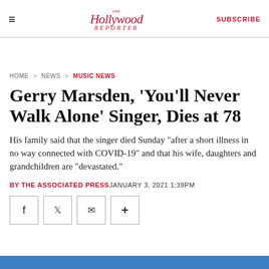The Hollywood Reporter | SUBSCRIBE
HOME > NEWS > MUSIC NEWS
Gerry Marsden, 'You'll Never Walk Alone' Singer, Dies at 78
His family said that the singer died Sunday "after a short illness in no way connected with COVID-19" and that his wife, daughters and grandchildren are "devastated."
BY THE ASSOCIATED PRESS JANUARY 3, 2021 1:39PM
[Figure (other): Social sharing icons: Facebook, Twitter, Email, More]